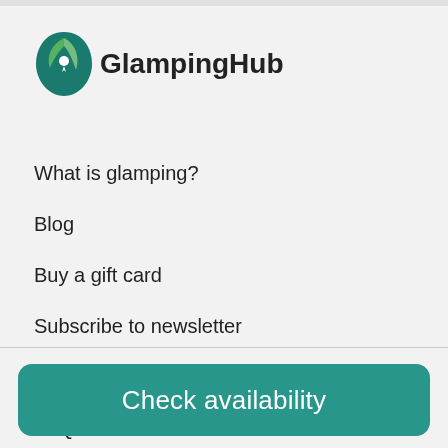[Figure (logo): GlampingHub logo with green leaf/teardrop icon and bold text 'GlampingHub']
What is glamping?
Blog
Buy a gift card
Subscribe to newsletter
About us
FAQ
Check availability